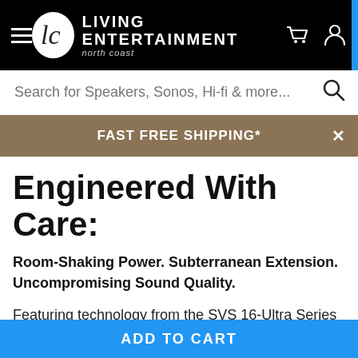LIVING ENTERTAINMENT north coast
Search for Speakers, Sonos, Hi-fi & more...
FAST FREE SHIPPING*
Engineered With Care:
Room-Shaking Power. Subterranean Extension. Uncompromising Sound Quality.
Featuring technology from the SVS 16-Ultra Series and 4000 Series, winners of nearly every industry and media award as the top subwoofers worldwide, the SB-3000 unleashes breathtaking output and extreme low frequency extension with pinpoint control and accuracy. The newest sealed cabinet SVS
ADD TO CART